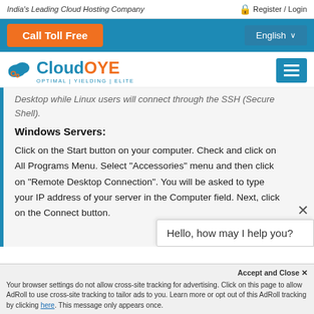India's Leading Cloud Hosting Company
Register / Login
[Figure (screenshot): Navigation bar with Call Toll Free orange button and English language selector]
[Figure (logo): CloudOYE logo with cloud icon and tagline OPTIMAL | YIELDING | ELITE]
Desktop while Linux users will connect through the SSH (Secure Shell).
Windows Servers:
Click on the Start button on your computer. Check and click on All Programs Menu. Select "Accessories" menu and then click on "Remote Desktop Connection". You will be asked to type your IP address of your server in the Computer field. Next, click on the Connect button.
Hello, how may I help you?
Accept and Close ✕
Your browser settings do not allow cross-site tracking for advertising. Click on this page to allow AdRoll to use cross-site tracking to tailor ads to you. Learn more or opt out of this AdRoll tracking by clicking here. This message only appears once.